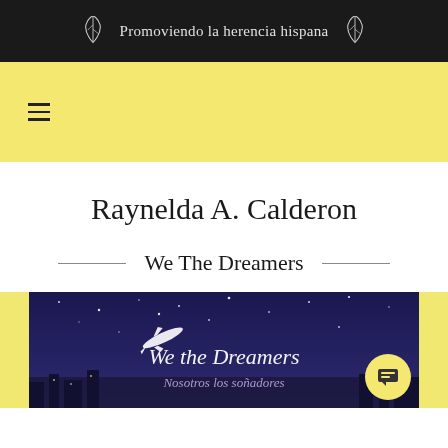Promoviendo la herencia hispana
[Figure (screenshot): Yellow navigation bar with hamburger menu icon]
Raynelda A. Calderon
We The Dreamers
[Figure (illustration): Book cover image for 'We the Dreamers / Nosotros los soñadores' showing a nighttime sky with stars, a white airplane, and city lights. Dark purple/blue background. Yellow circular chat button in bottom-right corner.]